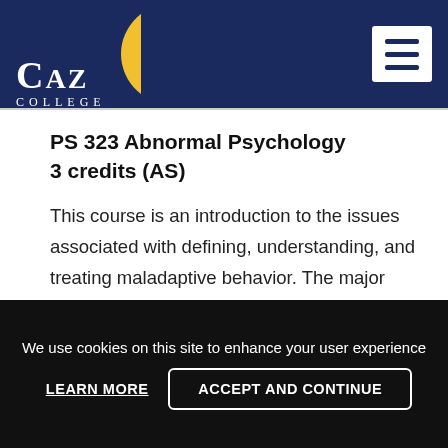CAZ COLLEGE
PS 323 Abnormal Psychology
3 credits (AS)
This course is an introduction to the issues associated with defining, understanding, and treating maladaptive behavior. The major schools of thought and systems of classifying abnormal behavior are presented and discussed. Questions relating to diagnosis,
We use cookies on this site to enhance your user experience
LEARN MORE
ACCEPT AND CONTINUE